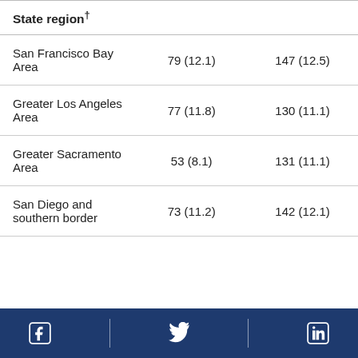| State region† |  |  |
| --- | --- | --- |
| San Francisco Bay Area | 79 (12.1) | 147 (12.5) |
| Greater Los Angeles Area | 77 (11.8) | 130 (11.1) |
| Greater Sacramento Area | 53 (8.1) | 131 (11.1) |
| San Diego and southern border | 73 (11.2) | 142 (12.1) |
Facebook | Twitter | LinkedIn